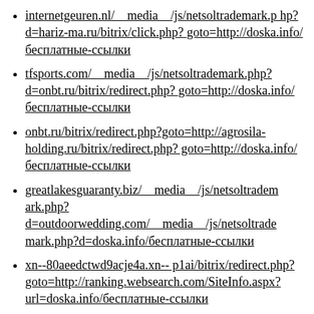internetgeuren.nl/__media__/js/netsoltrademark.php?d=hariz-ma.ru/bitrix/click.php?goto=http://doska.info/бесплатные-ссылки
tfsports.com/__media__/js/netsoltrademark.php?d=onbt.ru/bitrix/redirect.php?goto=http://doska.info/бесплатные-ссылки
onbt.ru/bitrix/redirect.php?goto=http://agrosila-holding.ru/bitrix/redirect.php?goto=http://doska.info/бесплатные-ссылки
greatlakesguaranty.biz/__media__/js/netsoltrademark.php?d=outdoorwedding.com/__media__/js/netsoltrademark.php?d=doska.info/бесплатные-ссылки
xn--80aeedctwd9acje4a.xn--p1ai/bitrix/redirect.php?goto=http://ranking.websearch.com/SiteInfo.aspx?url=doska.info/бесплатные-ссылки
www.e-clearingandsettle.biz/__media__/js/netsoltrademar